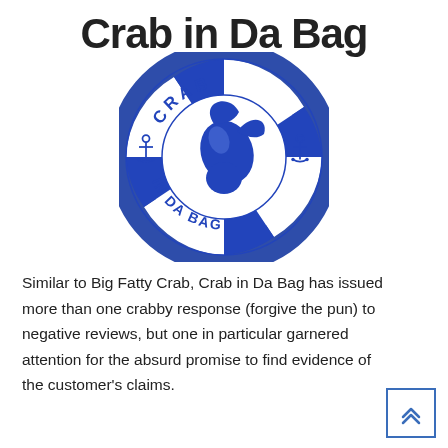Crab in Da Bag
[Figure (logo): Circular life-preserver logo with blue and white stripes, blue anchor symbols on left and right, a blue crab claw in the center, text 'CRAB' at the top and 'IN DA BAG' at the bottom in blue letters]
Similar to Big Fatty Crab, Crab in Da Bag has issued more than one crabby response (forgive the pun) to negative reviews, but one in particular garnered attention for the absurd promise to find evidence of the customer's claims.